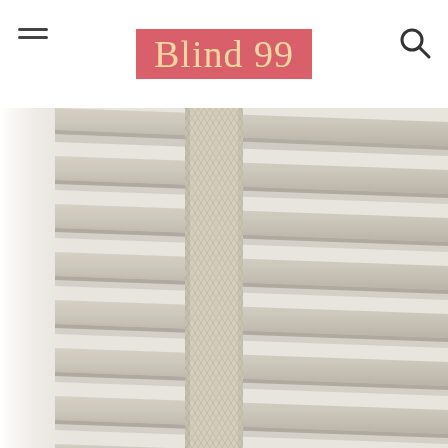Blind 99
[Figure (photo): Close-up photograph of beige/cream wooden venetian blinds with a woven fabric tape running vertically through the center. The slats are angled to allow partial light through, with bright white light visible on the left side.]